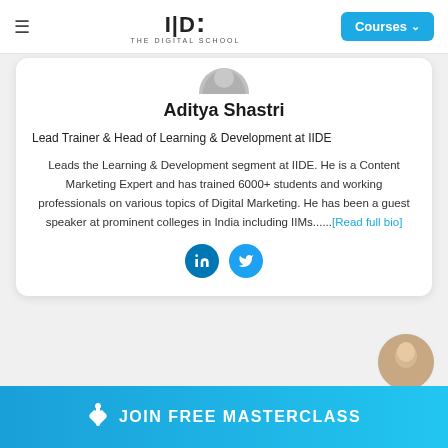≡   IIDE THE DIGITAL SCHOOL   Courses ∨
[Figure (photo): Partial profile photo of Aditya Shastri at top of card]
Aditya Shastri
Lead Trainer & Head of Learning & Development at IIDE
Leads the Learning & Development segment at IIDE. He is a Content Marketing Expert and has trained 6000+ students and working professionals on various topics of Digital Marketing. He has been a guest speaker at prominent colleges in India including IIMs......[Read full bio]
[Figure (illustration): LinkedIn and Twitter social media icon buttons]
[Figure (photo): Small circular avatar of a woman, bottom right corner]
JOIN FREE MASTERCLASS